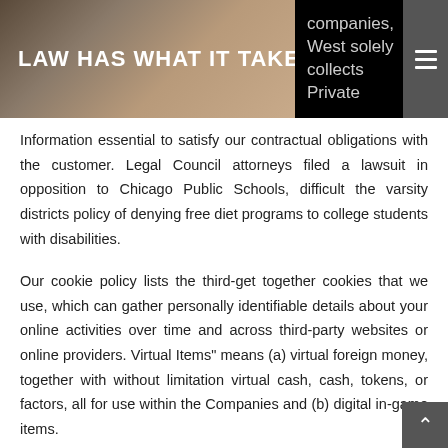[Figure (photo): Header bar with a dark background photo (law-related) on the left side and a hamburger menu icon on the right]
LAW HAS WHAT IT TAKES
companies, West solely collects Private
Information essential to satisfy our contractual obligations with the customer. Legal Council attorneys filed a lawsuit in opposition to Chicago Public Schools, difficult the varsity districts policy of denying free diet programs to college students with disabilities.
Our cookie policy lists the third-get together cookies that we use, which can gather personally identifiable details about your online activities over time and across third-party websites or online providers. Virtual Items" means (a) virtual foreign money, together with without limitation virtual cash, cash, tokens, or factors, all for use within the Companies and (b) digital in-game items.
Please learn these Phrases of Service and our Privacy Policy before utilizing Zynga’s Services. Take acceptable legal action together with without limitation, referral to regulation